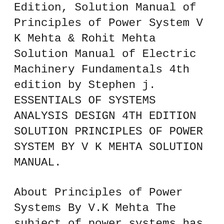Edition, Solution Manual of Principles of Power System V K Mehta & Rohit Mehta Solution Manual of Electric Machinery Fundamentals 4th edition by Stephen j. ESSENTIALS OF SYSTEMS ANALYSIS DESIGN 4TH EDITION SOLUTION PRINCIPLES OF POWER SYSTEM BY V K MEHTA SOLUTION MANUAL.
About Principles of Power Systems By V.K Mehta The subject of power systems has assumed considerable importance in recent years and growing demand for a compact work has resulted in this book. A new chapter has been added on Neutral Grounding. Solutions Manual Hadi Saadat Professor of Electrical Engineering Milwaukee School of